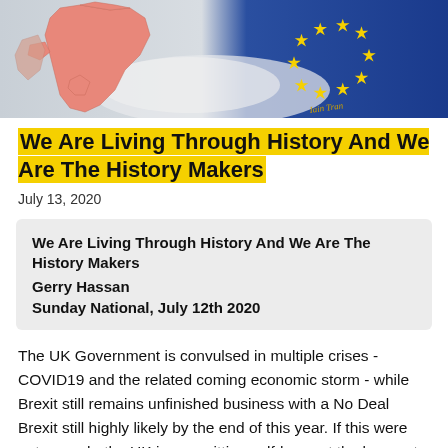[Figure (illustration): Illustration showing a pink/salmon colored map of Great Britain and Northern Ireland on the left, and a dark blue EU flag with yellow stars on the right, representing Brexit.]
We Are Living Through History And We Are The History Makers
July 13, 2020
| We Are Living Through History And We Are The History Makers |
| Gerry Hassan |
| Sunday National, July 12th 2020 |
The UK Government is convulsed in multiple crises - COVID19 and the related coming economic storm - while Brexit still remains unfinished business with a No Deal Brexit still highly likely by the end of this year. If this were not enough, the UK is committing self-harm at the bequest of a government both rudderless and